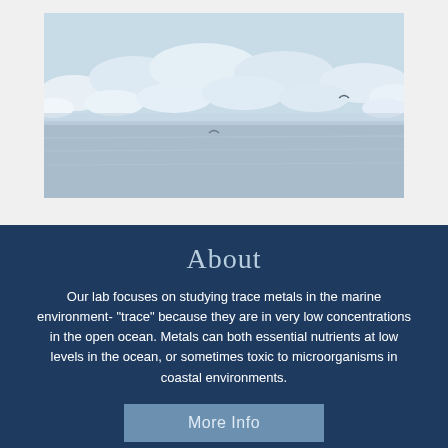[Figure (photo): Aerial or close-up photograph of sea ice and icy ocean water, showing white ice chunks floating on blue-grey water surface with a shore or ice shelf edge visible.]
About
Our lab focuses on studying trace metals in the marine environment- "trace" because they are in very low concentrations in the open ocean. Metals can both essential nutrients at low levels in the ocean, or sometimes toxic to microorganisms in coastal environments.
More Info